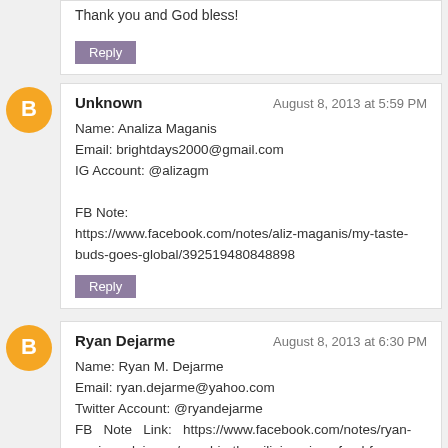Thank you and God bless!
Reply
Unknown — August 8, 2013 at 5:59 PM
Name: Analiza Maganis
Email: brightdays2000@gmail.com
IG Account: @alizagm

FB Note:
https://www.facebook.com/notes/aliz-maganis/my-taste-buds-goes-global/39251948 0848898
Reply
Ryan Dejarme — August 8, 2013 at 6:30 PM
Name: Ryan M. Dejarme
Email: ryan.dejarme@yahoo.com
Twitter Account: @ryandejarme
FB Note Link: https://www.facebook.com/notes/ryan-marinay-dejarme/meyd-in-the-pilipins-pinoy-food-from-sunrise-to-sundown/625274837506622